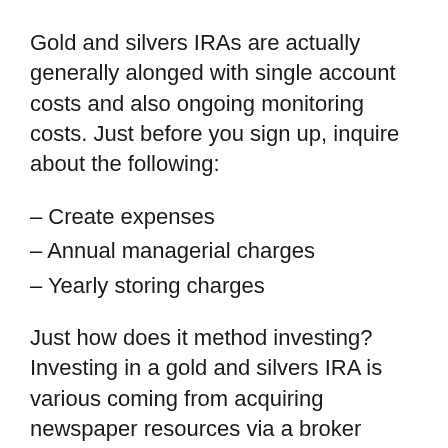Gold and silvers IRAs are actually generally alonged with single account costs and also ongoing monitoring costs. Just before you sign up, inquire about the following:
– Create expenses
– Annual managerial charges
– Yearly storing charges
Just how does it method investing? Investing in a gold and silvers IRA is various coming from acquiring newspaper resources via a broker agent profile. Listed below's a simple review of the method:
Open a profile. Get in touch with Goldco's client support team to schedule a call with